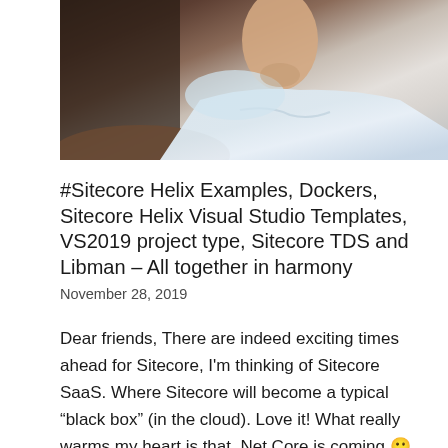[Figure (photo): Partial photograph of a person wearing a white t-shirt, upper body and shoulder visible, dark background]
#Sitecore Helix Examples, Dockers, Sitecore Helix Visual Studio Templates, VS2019 project type, Sitecore TDS and Libman – All together in harmony
November 28, 2019
Dear friends, There are indeed exciting times ahead for Sitecore, I'm thinking of Sitecore SaaS. Where Sitecore will become a typical “black box” (in the cloud). Love it! What really warms my heart is that .Net Core is coming 🙂 Here is a great post by Jeremy